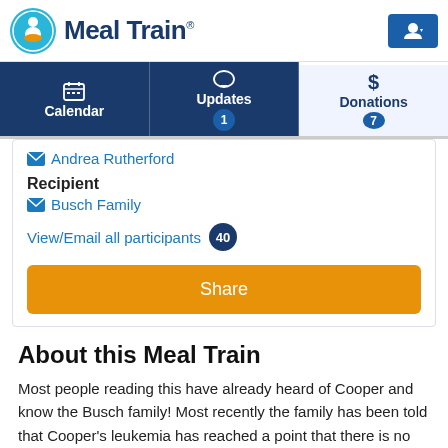[Figure (logo): Meal Train logo with circular icon showing a person with a bowl and orange/teal colors, next to bold dark blue 'Meal Train' text with registered trademark symbol]
Calendar | Updates 1 | Donations 7
Andrea Rutherford
Recipient
Busch Family
View/Email all participants 40
Share
About this Meal Train
Most people reading this have already heard of Cooper and know the Busch family! Most recently the family has been told that Cooper's leukemia has reached a point that there is no cure, that they have exhausted all currently treatments. Cooper is now on palliative care – meaning that he will receive low dose